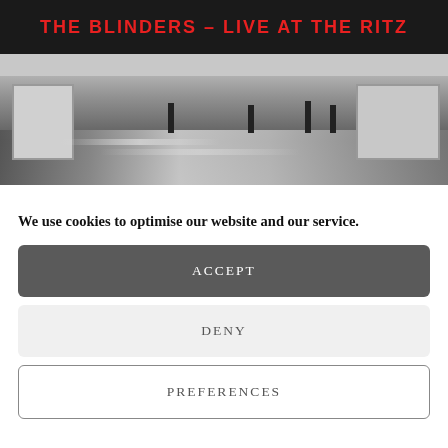[Figure (photo): Black and white photo of a theater marquee reading 'THE BLINDERS - LIVE AT THE RITZ' in red letters, with blurred street scene below]
We use cookies to optimise our website and our service.
ACCEPT
DENY
PREFERENCES